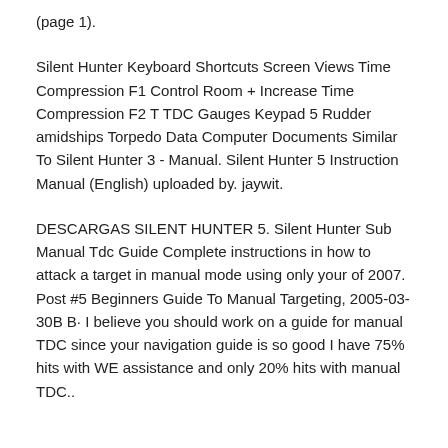(page 1).
Silent Hunter Keyboard Shortcuts Screen Views Time Compression F1 Control Room + Increase Time Compression F2 T TDC Gauges Keypad 5 Rudder amidships Torpedo Data Computer Documents Similar To Silent Hunter 3 - Manual. Silent Hunter 5 Instruction Manual (English) uploaded by. jaywit.
DESCARGAS SILENT HUNTER 5. Silent Hunter Sub Manual Tdc Guide Complete instructions in how to attack a target in manual mode using only your of 2007. Post #5 Beginners Guide To Manual Targeting, 2005-03-30B B· I believe you should work on a guide for manual TDC since your navigation guide is so good I have 75% hits with WE assistance and only 20% hits with manual TDC..